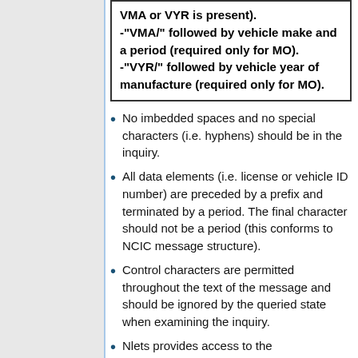| VMA or VYR is present). |
| -"VMA/" followed by vehicle make and a period (required only for MO). |
| -"VYR/" followed by vehicle year of manufacture (required only for MO). |
No imbedded spaces and no special characters (i.e. hyphens) should be in the inquiry.
All data elements (i.e. license or vehicle ID number) are preceded by a prefix and terminated by a period. The final character should not be a period (this conforms to NCIC message structure).
Control characters are permitted throughout the text of the message and should be ignored by the queried state when examining the inquiry.
Nlets provides access to the